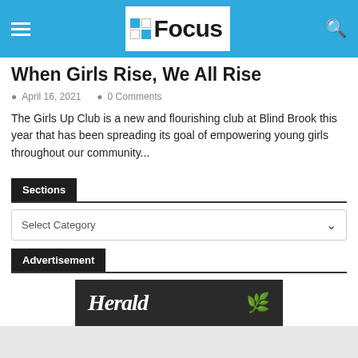Focus
When Girls Rise, We All Rise
April 16, 2021   0 Comments
The Girls Up Club is a new and flourishing club at Blind Brook this year that has been spreading its goal of empowering young girls throughout our community...
Sections
Select Category
Advertisement
[Figure (other): Advertisement image with large bold italic text reading 'Herald' and green plant leaves on dark background]